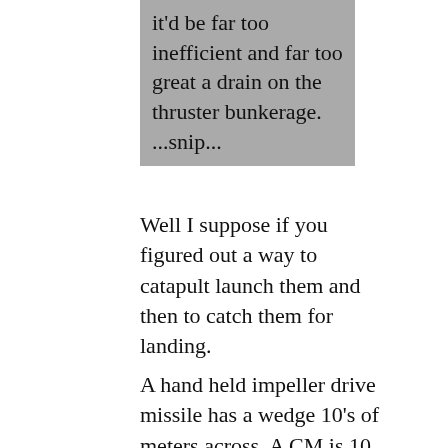it'd be far too inefficient and far too great a drain on the thruster bunkerage. ...snip...
Well I suppose if you figured out a way to catapult launch them and then to catch them for landing.
A hand held impeller drive missile has a wedge 10's of meters across. A CM is 10